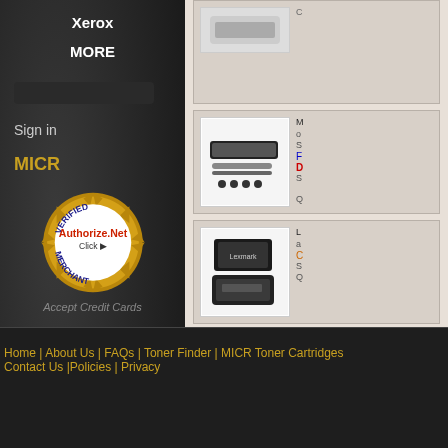Xerox
MORE
Sign in
MICR
[Figure (logo): Authorize.Net Verified Merchant seal badge]
Accept Credit Cards
[Figure (photo): Printer product image (top right, partially cropped)]
[Figure (photo): Printer maintenance kit product image]
F D S
[Figure (photo): Lexmark toner cartridge product image]
C
Home | About Us | FAQs | Toner Finder | MICR Toner Cartridges
Contact Us |Policies | Privacy